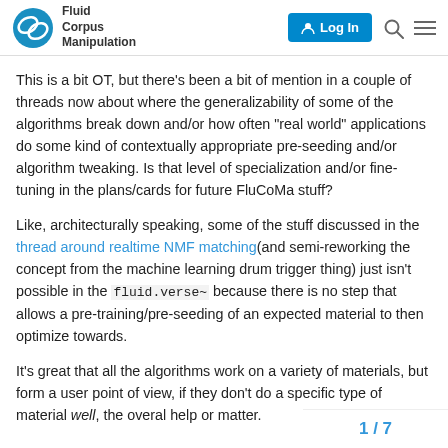Fluid Corpus Manipulation
This is a bit OT, but there’s been a bit of mention in a couple of threads now about where the generalizability of some of the algorithms break down and/or how often “real world” applications do some kind of contextually appropriate pre-seeding and/or algorithm tweaking. Is that level of specialization and/or fine-tuning in the plans/cards for future FluCoMa stuff?
Like, architecturally speaking, some of the stuff discussed in the thread around realtime NMF matching(and semi-reworking the concept from the machine learning drum trigger thing) just isn’t possible in the fluid.verse~ because there is no step that allows a pre-training/pre-seeding of an expected material to then optimize towards.
It’s great that all the algorithms work on a variety of materials, but form a user point of view, if they don’t do a specific type of material well, the overal help or matter.
1 / 7